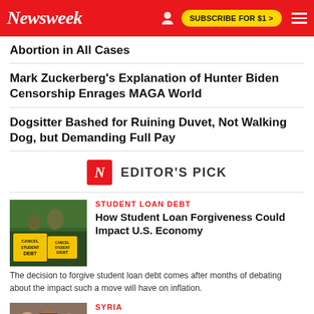Newsweek  SUBSCRIBE FOR $1 >
Abortion in All Cases
Mark Zuckerberg's Explanation of Hunter Biden Censorship Enrages MAGA World
Dogsitter Bashed for Ruining Duvet, Not Walking Dog, but Demanding Full Pay
N  EDITOR'S PICK
[Figure (photo): People holding yellow signs reading 'CANCEL STUDENT DEBT']
STUDENT LOAN DEBT
How Student Loan Forgiveness Could Impact U.S. Economy
The decision to forgive student loan debt comes after months of debating about the impact such a move will have on inflation.
[Figure (photo): Men in formal attire, appearing to be politicians or officials]
SYRIA
Putin Helps Assad and Erdogan to